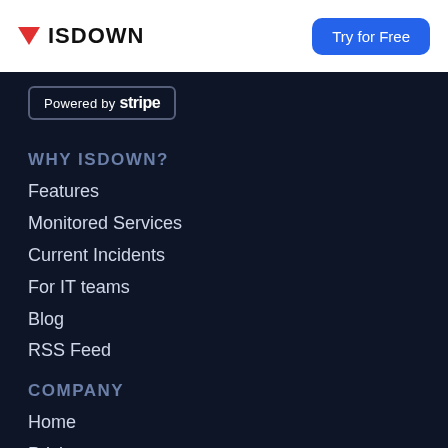ISDOWN | Try for Free
[Figure (logo): ISDOWN logo with red downward triangle and bold text ISDOWN, with a blue 'Try for Free' button on the right]
Powered by stripe
WHY ISDOWN?
Features
Monitored Services
Current Incidents
For IT teams
Blog
RSS Feed
COMPANY
Home
Pricing
Sign In
Create an Account